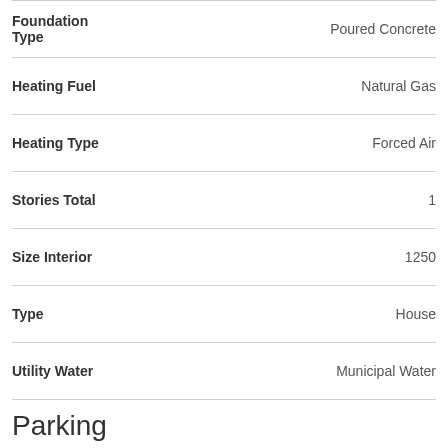| Property | Value |
| --- | --- |
| Foundation Type | Poured Concrete |
| Heating Fuel | Natural Gas |
| Heating Type | Forced Air |
| Stories Total | 1 |
| Size Interior | 1250 |
| Type | House |
| Utility Water | Municipal Water |
Parking
Attached Garage
Land